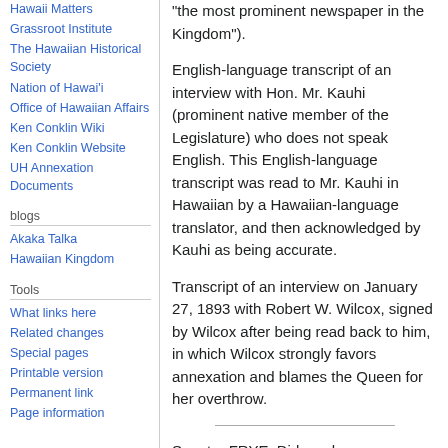Hawaii Matters
Grassroot Institute
The Hawaiian Historical Society
Nation of Hawai'i
Office of Hawaiian Affairs
Ken Conklin Wiki
Ken Conklin Website
UH Annexation Documents
blogs
Akaka Talka
Hawaiian Kingdom
Tools
What links here
Related changes
Special pages
Printable version
Permanent link
Page information
"the most prominent newspaper in the Kingdom").
English-language transcript of an interview with Hon. Mr. Kauhi (prominent native member of the Legislature) who does not speak English. This English-language transcript was read to Mr. Kauhi in Hawaiian by a Hawaiian-language translator, and then acknowledged by Kauhi as being accurate.
Transcript of an interview on January 27, 1893 with Robert W. Wilcox, signed by Wilcox after being read back to him, in which Wilcox strongly favors annexation and blames the Queen for her overthrow.
Senator FRYE. Did you have any conversation with any prominent Hawaiians in relation to the change of